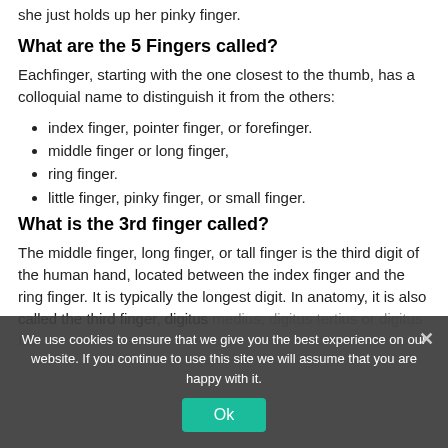she just holds up her pinky finger.
What are the 5 Fingers called?
Eachfinger, starting with the one closest to the thumb, has a colloquial name to distinguish it from the others:
index finger, pointer finger, or forefinger.
middle finger or long finger,
ring finger.
little finger, pinky finger, or small finger.
What is the 3rd finger called?
The middle finger, long finger, or tall finger is the third digit of the human hand, located between the index finger and the ring finger. It is typically the longest digit. In anatomy, it is also called the third finger, digitus medius, digitus tertius or digitus III.
We use cookies to ensure that we give you the best experience on our website. If you continue to use this site we will assume that you are happy with it.